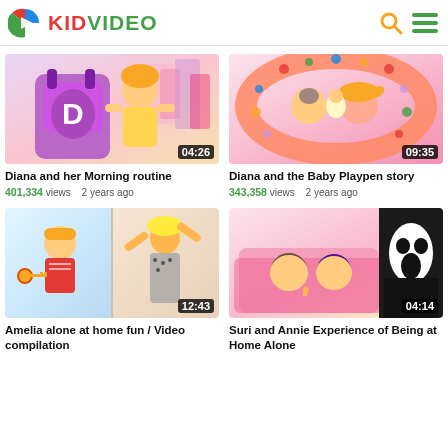KIDVIDEO
[Figure (screenshot): Thumbnail: girl with colorful backpack with letter D, duration 04:26]
Diana and her Morning routine
401,334 views  2 years ago
[Figure (screenshot): Thumbnail: two children inside inflatable pool ring with baby doll, duration 09:35]
Diana and the Baby Playpen story
343,358 views  2 years ago
[Figure (screenshot): Thumbnail: boy and woman with arms raised, duration 12:43]
Amelia alone at home fun / Video compilation
[Figure (screenshot): Thumbnail: two girls hiding under blanket with person in ghost mask, duration 04:14]
Suri and Annie Experience of Being at Home Alone